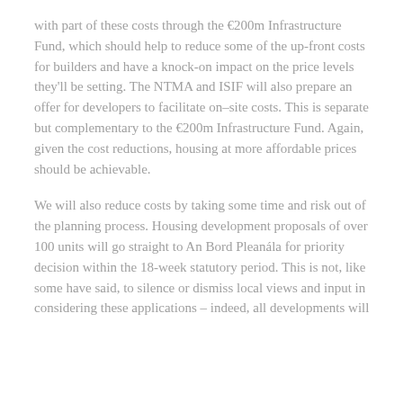with part of these costs through the €200m Infrastructure Fund, which should help to reduce some of the up-front costs for builders and have a knock-on impact on the price levels they'll be setting. The NTMA and ISIF will also prepare an offer for developers to facilitate on–site costs. This is separate but complementary to the €200m Infrastructure Fund. Again, given the cost reductions, housing at more affordable prices should be achievable.
We will also reduce costs by taking some time and risk out of the planning process. Housing development proposals of over 100 units will go straight to An Bord Pleanála for priority decision within the 18-week statutory period. This is not, like some have said, to silence or dismiss local views and input in considering these applications – indeed, all developments will